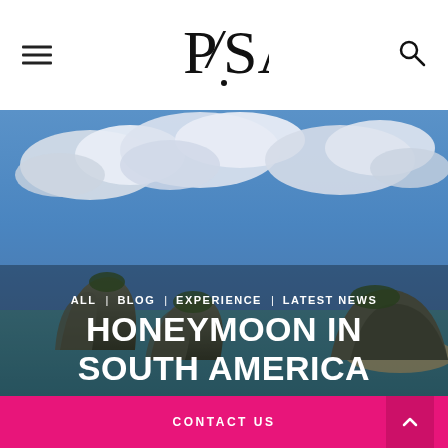PSA logo, hamburger menu, search icon
[Figure (photo): Hero image of tropical coastal scene with rocky islands, turquoise water, and dramatic cloudy blue sky. Navigation links overlay: ALL | BLOG | EXPERIENCE | LATEST NEWS. Large white bold title: HONEYMOON IN SOUTH AMERICA]
ALL | BLOG | EXPERIENCE | LATEST NEWS
HONEYMOON IN SOUTH AMERICA
CONTACT US